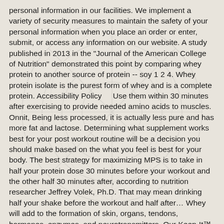personal information in our facilities. We implement a variety of security measures to maintain the safety of your personal information when you place an order or enter, submit, or access any information on our website. A study published in 2013 in the "Journal of the American College of Nutrition" demonstrated this point by comparing whey protein to another source of protein -- soy 1 2 4. Whey protein isolate is the purest form of whey and is a complete protein. Accessibility Policy    Use them within 30 minutes after exercising to provide needed amino acids to muscles. Onnit, Being less processed, it is actually less pure and has more fat and lactose. Determining what supplement works best for your post workout routine will be a decision you should make based on the what you feel is best for your body. The best strategy for maximizing MPS is to take in half your protein dose 30 minutes before your workout and the other half 30 minutes after, according to nutrition researcher Jeffrey Volek, Ph.D. That may mean drinking half your shake before the workout and half after… Whey will add to the formation of skin, organs, tendons, hormones, enzymes, and neurotransmitters. Our Keep-It™ guarantee is valid for the first-time purchase of a formula, and redeemable up to three months (90 days) after the purchase date. 4401 Freidrich Ln. Having whey after your workout is a way to heal the body's muscles, as it adds about 20 to 25 extra grams of protein to your diet. Order any of our entry size supplements, and if you don't like it, you can keep it! Shop Now! Some recent research even shows